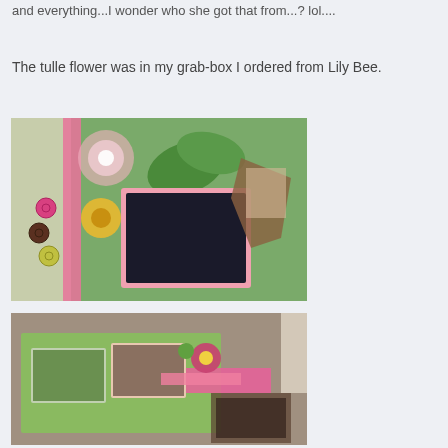and everything...I wonder who she got that from...? lol....
The tulle flower was in my grab-box I ordered from Lily Bee.
[Figure (photo): Close-up photo of a decorative scrapbook layout featuring a framed photo, pink tulle flower, yellow flower, green leaves, buttons, and lace embellishments on a green patterned background.]
[Figure (photo): Overhead photo of a scrapbook layout spread on a table showing green and pink patterned papers, photos, ribbon, and flower embellishments.]